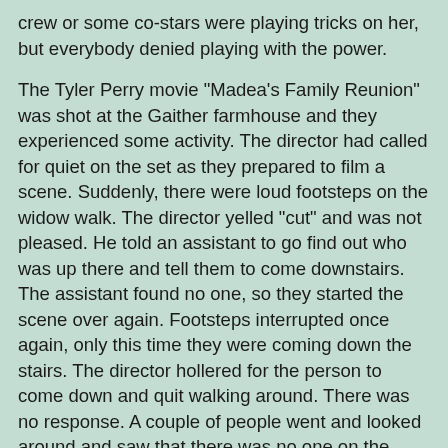crew or some co-stars were playing tricks on her, but everybody denied playing with the power.
The Tyler Perry movie "Madea's Family Reunion" was shot at the Gaither farmhouse and they experienced some activity. The director had called for quiet on the set as they prepared to film a scene. Suddenly, there were loud footsteps on the widow walk. The director yelled "cut" and was not pleased. He told an assistant to go find out who was up there and tell them to come downstairs. The assistant found no one, so they started the scene over again. Footsteps interrupted once again, only this time they were coming down the stairs. The director hollered for the person to come down and quit walking around. There was no response. A couple of people went and looked around and saw that there was no one on the stairs or near them. Just before the director yelled "action" to try filming for a third time he yelled, "Will the ghost of the house please cooperate!" They managed to film the scene without any further issues.
Central Georgia Paranormal Society investigated in 2013 and captured EVPs. In one recording, the group asked if there was something there and could hear what sounded like a "hello."